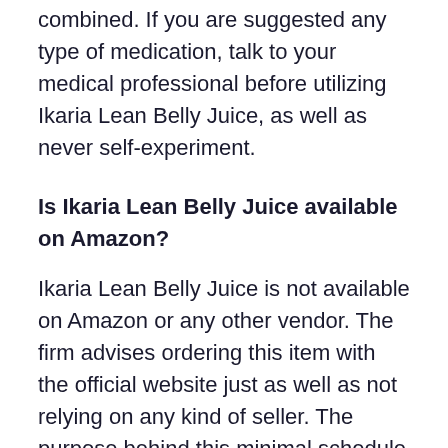combined. If you are suggested any type of medication, talk to your medical professional before utilizing Ikaria Lean Belly Juice, as well as never self-experiment.
Is Ikaria Lean Belly Juice available on Amazon?
Ikaria Lean Belly Juice is not available on Amazon or any other vendor. The firm advises ordering this item with the official website just as well as not relying on any kind of seller. The purpose behind this minimal schedule is to reduce the threat of online frauds and also fraudulence, which prevails for any kind of item that is high in demand.
Ikaria Lean Belly Juice Consumer Issues